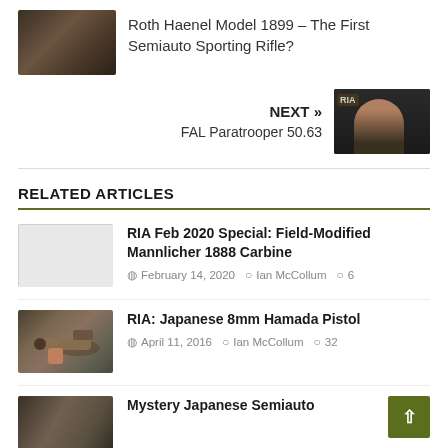[Figure (photo): Photo of a rifle, dark background]
Roth Haenel Model 1899 – The First Semiauto Sporting Rifle?
NEXT » FAL Paratrooper 50.63
[Figure (photo): Person holding a rifle in a studio with RIA logo]
RELATED ARTICLES
[Figure (photo): Blank/placeholder thumbnail for Mannlicher article]
RIA Feb 2020 Special: Field-Modified Mannlicher 1888 Carbine
February 14, 2020 Ian McCollum 6
[Figure (photo): Photo of Japanese Hamada Pistol]
RIA: Japanese 8mm Hamada Pistol
April 11, 2016 Ian McCollum 32
[Figure (photo): Photo thumbnail for Mystery Japanese Semiauto article]
Mystery Japanese Semiauto